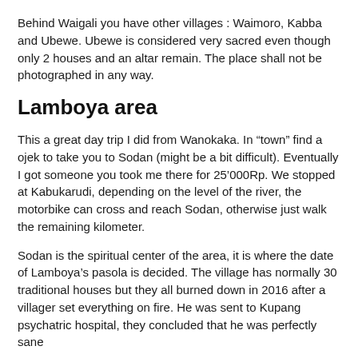Behind Waigali you have other villages : Waimoro, Kabba and Ubewe. Ubewe is considered very sacred even though only 2 houses and an altar remain. The place shall not be photographed in any way.
Lamboya area
This a great day trip I did from Wanokaka. In “town” find a ojek to take you to Sodan (might be a bit difficult). Eventually I got someone you took me there for 25’000Rp. We stopped at Kabukarudi, depending on the level of the river, the motorbike can cross and reach Sodan, otherwise just walk the remaining kilometer.
Sodan is the spiritual center of the area, it is where the date of Lamboya’s pasola is decided. The village has normally 30 traditional houses but they all burned down in 2016 after a villager set everything on fire. He was sent to Kupang psychatric hospital, they concluded that he was perfectly sane